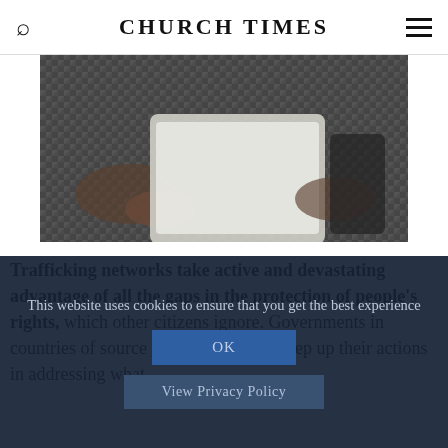CHURCH TIMES
[Figure (photo): Person in houndstooth/checkered jacket holding a tablet device, dark overlay tint]
Trafficking networks take active and devastating advantage of all the gaps in the protection of people's rights, which other citizens ignore. Governments in countries of source and demand must step up their actions in addressing what
This website uses cookies to ensure that you get the best experience
OK
View Privacy Policy